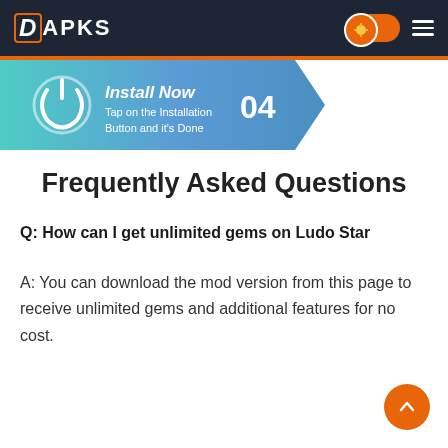DAPKS
[Figure (infographic): Step 04 Install Now banner with teal-to-blue gradient arrow shape, power icon, text 'Install Now / Tap on the Installation Button and it's Done' and number 04]
Frequently Asked Questions
Q: How can I get unlimited gems on Ludo Star
A: You can download the mod version from this page to receive unlimited gems and additional features for no cost.